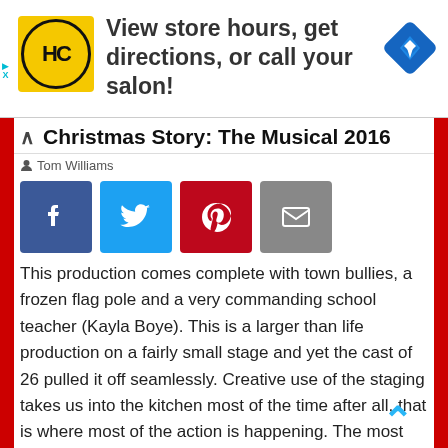[Figure (infographic): Ad banner: HC logo (yellow circle with HC text), text 'View store hours, get directions, or call your salon!', blue navigation diamond icon on right]
Christmas Story: The Musical 2016
Tom Williams
[Figure (infographic): Social share buttons: Facebook (blue), Twitter (light blue), Pinterest (red), Email (gray)]
This production comes complete with town bullies, a frozen flag pole and a very commanding school teacher (Kayla Boye). This is a larger than life production on a fairly small stage and yet the cast of 26 pulled it off seamlessly. Creative use of the staging takes us into the kitchen most of the time after all, that is where most of the action is happening. The most exciting of holiday dinners gets destroyed when disaster strikes and they end up eating out at a Chinese restaurant which the only place open in town. Who knew that little brother Randy liked noodles so much?